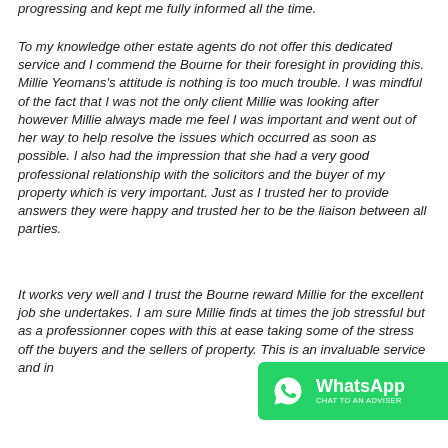progressing and kept me fully informed all the time.
To my knowledge other estate agents do not offer this dedicated service and I commend the Bourne for their foresight in providing this. Millie Yeomans's attitude is nothing is too much trouble. I was mindful of the fact that I was not the only client Millie was looking after however Millie always made me feel I was important and went out of her way to help resolve the issues which occurred as soon as possible. I also had the impression that she had a very good professional relationship with the solicitors and the buyer of my property which is very important. Just as I trusted her to provide answers they were happy and trusted her to be the liaison between all parties.
It works very well and I trust the Bourne reward Millie for the excellent job she undertakes. I am sure Millie finds at times the job stressful but as a professional copes with this at ease taking some of the stress off the buyers and the sellers of property. This is an invaluable service and in